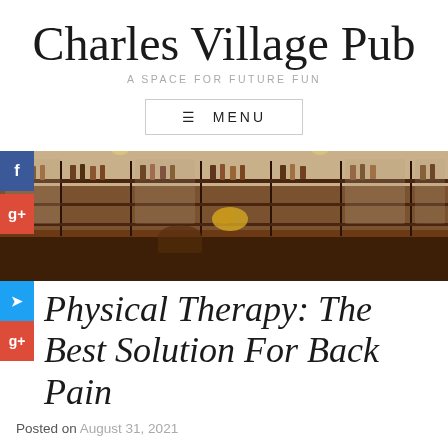Charles Village Pub
A SPACE FOR FUTURE FUN
≡ MENU
[Figure (photo): Interior of a pub bar with dark wooden counter, shelves of bottles and glasses, mirrors, and flower arrangements]
Physical Therapy: The Best Solution For Back Pain
Posted on August 31, 2021